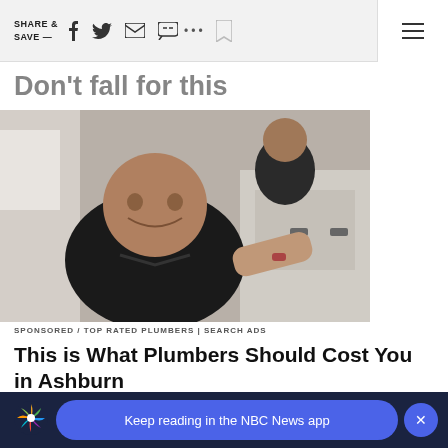SHARE & SAVE —  [social icons]
Don't fall for this
[Figure (photo): Man in black t-shirt smiling, seated near a sink/bathroom fixture, with another person standing behind him]
SPONSORED / TOP RATED PLUMBERS | SEARCH ADS
This is What Plumbers Should Cost You in Ashburn
Keep reading in the NBC News app